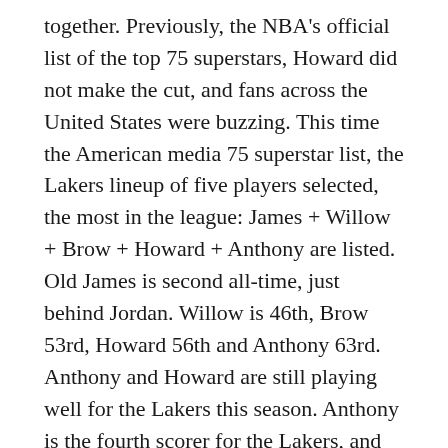together. Previously, the NBA's official list of the top 75 superstars, Howard did not make the cut, and fans across the United States were buzzing. This time the American media 75 superstar list, the Lakers lineup of five players selected, the most in the league: James + Willow + Brow + Howard + Anthony are listed. Old James is second all-time, just behind Jordan. Willow is 46th, Brow 53rd, Howard 56th and Anthony 63rd. Anthony and Howard are still playing well for the Lakers this season. Anthony is the fourth scorer for the Lakers, and he is very critical in scoring off the bench. Howard is a bit wrong this season, the Vogel coaching staff does not like to use him, resulting in his bench center playing